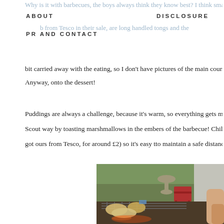Why is it with barbecues, the boys always think they know best? I think small one is love our barbecue. We've had it forever, but it folds up into a little metal suitcase, so
ABOUT   DISCLOSURE
b from Tesco in their sale, are long handled tongs and the
PR AND CONTACT
bit carried away with the eating, so I don't have pictures of the main course, but it wa
Anyway, onto the dessert!
Puddings are always a challenge, because it's warm, so everything gets melty really q
Scout way by toasting marshmallows in the embers of the barbecue! Children really enjo
got ours from Tesco, for around £2) so it's easy tto maintain a safe distance.
[Figure (photo): Outdoor barbecue scene showing food cooking on a grill grate, with a garden in the background including a stone bird bath and red chair, and a person's arm visible on the right side.]